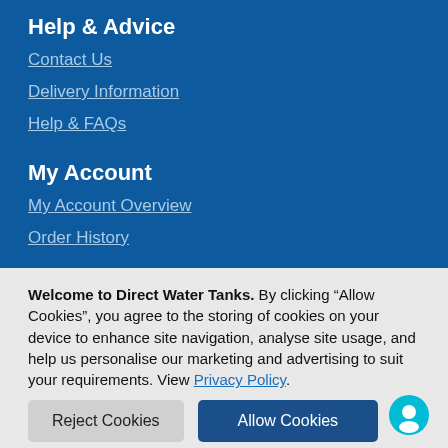Help & Advice
Contact Us
Delivery Information
Help & FAQs
My Account
My Account Overview
Order History
Welcome to Direct Water Tanks. By clicking “Allow Cookies”, you agree to the storing of cookies on your device to enhance site navigation, analyse site usage, and help us personalise our marketing and advertising to suit your requirements. View Privacy Policy.